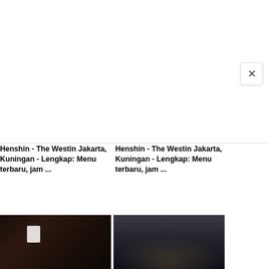[Figure (screenshot): White blank area with close button (X) at top right — appears to be a partially loaded web page or modal]
Henshin - The Westin Jakarta, Kuningan - Lengkap: Menu terbaru, jam ...
Henshin - The Westin Jakarta, Kuningan - Lengkap: Menu terbaru, jam ...
[Figure (photo): Dark photo of Japanese food spread on a table with small plates and dim candlelight]
[Figure (photo): Night aerial view of Jakarta city lights from a high vantage point]